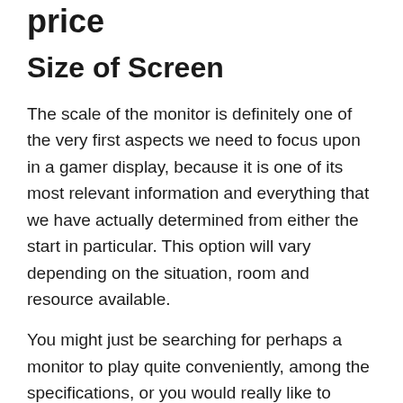price
Size of Screen
The scale of the monitor is definitely one of the very first aspects we need to focus upon in a gamer display, because it is one of its most relevant information and everything that we have actually determined from either the start in particular. This option will vary depending on the situation, room and resource available.
You might just be searching for perhaps a monitor to play quite conveniently, among the specifications, or you would really like to develop your perfect gamecube, as well as the size is a feature which will differ between these following scenarios.